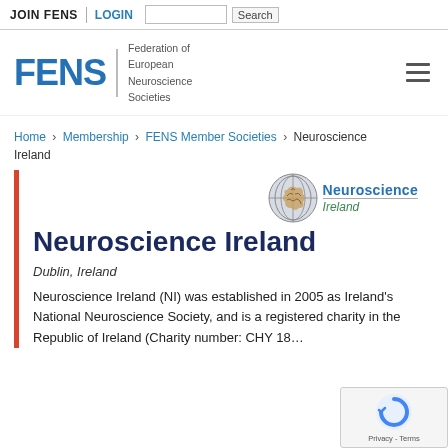JOIN FENS | LOGIN | Search
[Figure (logo): FENS Federation of European Neuroscience Societies logo with hamburger menu icon]
Home > Membership > FENS Member Societies > Neuroscience Ireland
[Figure (logo): Neuroscience Ireland logo with globe/brain graphic, blue text 'Neuroscience' and italic green text 'Ireland']
Neuroscience Ireland
Dublin, Ireland
Neuroscience Ireland (NI) was established in 2005 as Ireland's National Neuroscience Society, and is a registered charity in the Republic of Ireland (Charity number: CHY 18...